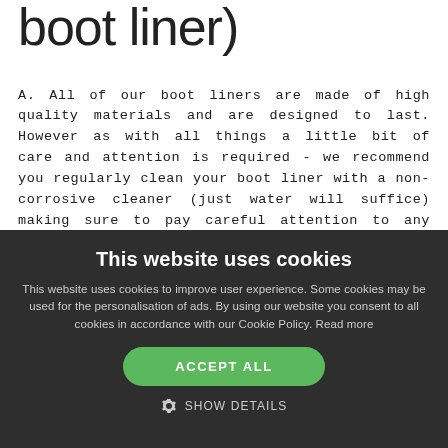boot liner)
A. All of our boot liners are made of high quality materials and are designed to last. However as with all things a little bit of care and attention is required - we recommend you regularly clean your boot liner with a non-corrosive cleaner (just water will suffice) making sure to pay careful attention to any seams and corners. When you have cleaned the boot liner you must allow it time to dry properly before using again. If for any reason your liner comes into contact with a corrosive (salts, acids etc.) then you must thoroughly
This website uses cookies
This website uses cookies to improve user experience. Some cookies may be used for the personalisation of ads. By using our website you consent to all cookies in accordance with our Cookie Policy. Read more
ACCEPT ALL
SHOW DETAILS